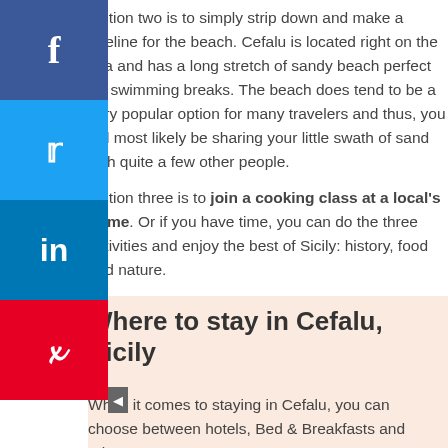Option two is to simply strip down and make a beeline for the beach. Cefalu is located right on the sea and has a long stretch of sandy beach perfect for swimming breaks. The beach does tend to be a very popular option for many travelers and thus, you will most likely be sharing your little swath of sand with quite a few other people.
Option three is to join a cooking class at a local's home. Or if you have time, you can do the three activities and enjoy the best of Sicily: history, food and nature.
Where to stay in Cefalu, Sicily
When it comes to staying in Cefalu, you can choose between hotels, Bed & Breakfasts and private apartments.
Here are our suggestions for accommodation in Cefalu, click on the name of the hotel for photos and room rates.
6. The Cathedral and Cloisters in